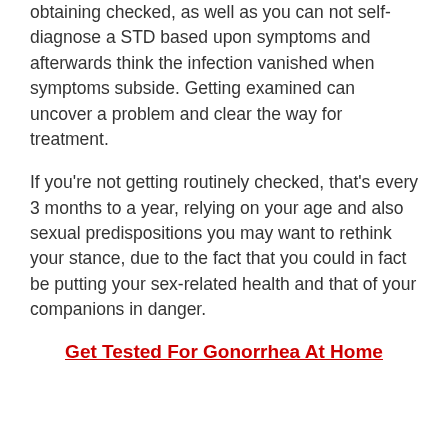obtaining checked, as well as you can not self-diagnose a STD based upon symptoms and afterwards think the infection vanished when symptoms subside. Getting examined can uncover a problem and clear the way for treatment.
If you're not getting routinely checked, that's every 3 months to a year, relying on your age and also sexual predispositions you may want to rethink your stance, due to the fact that you could in fact be putting your sex-related health and that of your companions in danger.
Get Tested For Gonorrhea At Home